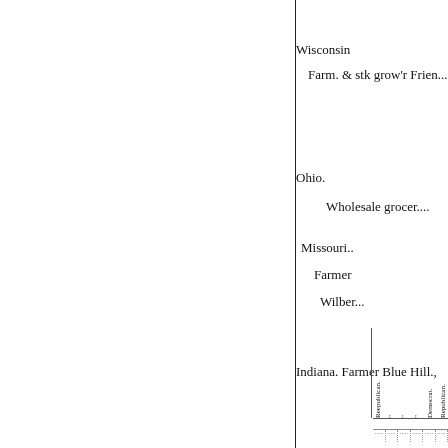Wisconsin
Farm. & stk grow'r Frien...
Ohio.
Wholesale grocer....
Missouri..
Farmer
Wilber...
Indiana. Farmer Blue Hill.,
| Reepublican. | " | " | " | Democrat. | Republican. | Anti-Monop. | Democrat. |
| --- | --- | --- | --- | --- | --- | --- | --- |
| ........ | ........ | ........ | ........ | ........ | ........ | ........ | ........ |